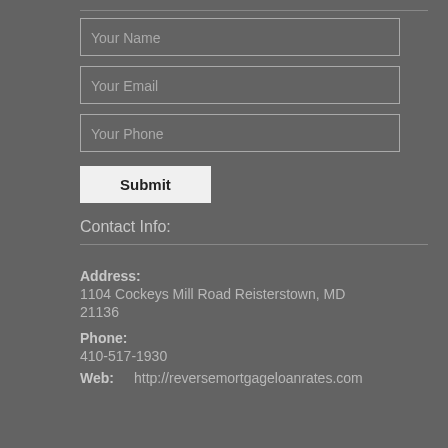[Figure (screenshot): Web contact form with three input fields: Your Name, Your Email, Your Phone, and a Submit button]
Contact Info:
Address: 1104 Cockeys Mill Road Reisterstown, MD 21136
Phone: 410-517-1930
Web: http://reversemortgageloanrates.com